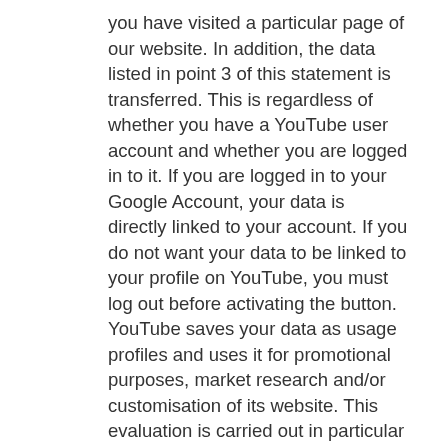you have visited a particular page of our website. In addition, the data listed in point 3 of this statement is transferred. This is regardless of whether you have a YouTube user account and whether you are logged in to it. If you are logged in to your Google Account, your data is directly linked to your account. If you do not want your data to be linked to your profile on YouTube, you must log out before activating the button. YouTube saves your data as usage profiles and uses it for promotional purposes, market research and/or customisation of its website. This evaluation is carried out in particular (even for users not logged on to your account) in order to provide tailored advertising and to inform other social network users about your activities on our website. You have the right to object to the creation of these user profiles, but you must contact YouTube to exercise this right. For more information on the purpose and scope of data collection and processing by YouTube, please see